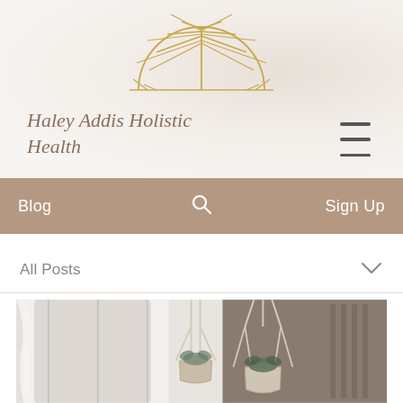[Figure (logo): Sun/sunrise logo icon with radiating lines above a half-circle, in gold/amber color]
Haley Addis Holistic Health
Blog  🔍  Sign Up
All Posts
[Figure (photo): A photo of hanging macrame plant holders with potted plants in a bright indoor setting]